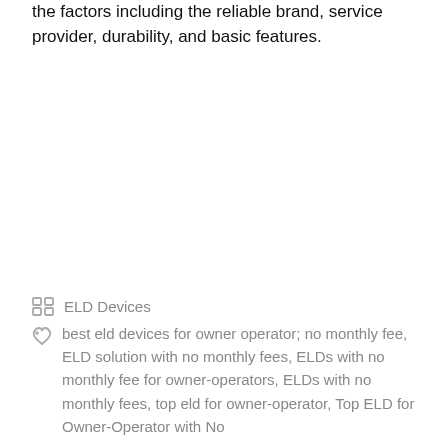the factors including the reliable brand, service provider, durability, and basic features.
ELD Devices
best eld devices for owner operator; no monthly fee, ELD solution with no monthly fees, ELDs with no monthly fee for owner-operators, ELDs with no monthly fees, top eld for owner-operator, Top ELD for Owner-Operator with No